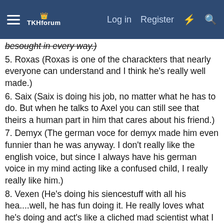TKHforum — Log in   Register
besought in every way.)
5. Roxas (Roxas is one of the charackters that nearly everyone can understand and I think he's really well made.)
6. Saix (Saix is doing his job, no matter what he has to do. But when he talks to Axel you can still see that theirs a human part in him that cares about his friend.)
7. Demyx (The german voce for demyx made him even funnier than he was anyway. I don't really like the english voice, but since I always have his german voice in my mind acting like a confused child, I really really like him.)
8. Vexen (He's doing his siencestuff with all his hea....well, he has fun doing it. He really loves what he's doing and act's like a cliched mad scientist what I actually like)
9. Larxene (Actually I hate her, but everytime I get the chance to fight her I'm on fire to beat her. She has a strong & bitchy charackter that really make me hate her, but that's the reason she can't be on the end of the list.)
10. Marluxia (His look. His weapon.)
11. Luxord (I like gambling charackters, but Luxord always felt like a placeholder without much of a personality.)